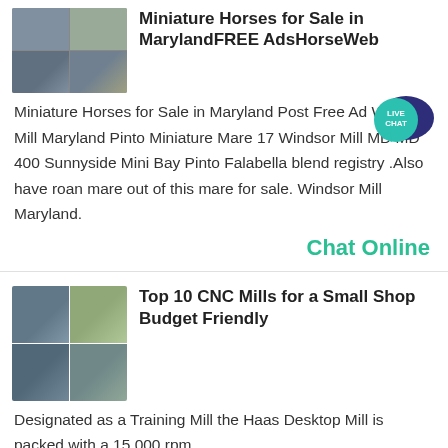Miniature Horses for Sale in MarylandFREE AdsHorseWeb
[Figure (photo): Grid of 4 thumbnail photos of industrial/agricultural equipment and horses]
[Figure (other): Live Chat badge - teal speech bubble with LIVE CHAT text]
Miniature Horses for Sale in Maryland Post Free Ad Windsor Mill Maryland Pinto Miniature Mare 17 Windsor Mill MD MD 400 Sunnyside Mini Bay Pinto Falabella blend registry .Also have roan mare out of this mare for sale. Windsor Mill Maryland.
Chat Online
Top 10 CNC Mills for a Small Shop Budget Friendly
[Figure (photo): Grid of 4 thumbnail photos of CNC mills and industrial machinery]
Designated as a Training Mill the Haas Desktop Mill is packed with a 15 000 rpm